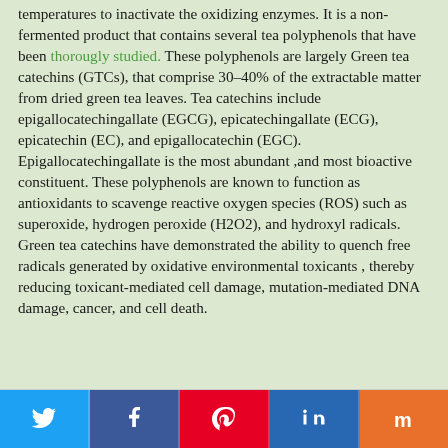temperatures to inactivate the oxidizing enzymes. It is a non-fermented product that contains several tea polyphenols that have been thorougly studied. These polyphenols are largely Green tea catechins (GTCs), that comprise 30–40% of the extractable matter from dried green tea leaves. Tea catechins include epigallocatechingallate (EGCG), epicatechingallate (ECG), epicatechin (EC), and epigallocatechin (EGC). Epigallocatechingallate is the most abundant ,and most bioactive constituent. These polyphenols are known to function as antioxidants to scavenge reactive oxygen species (ROS) such as superoxide, hydrogen peroxide (H2O2), and hydroxyl radicals. Green tea catechins have demonstrated the ability to quench free radicals generated by oxidative environmental toxicants , thereby reducing toxicant-mediated cell damage, mutation-mediated DNA damage, cancer, and cell death.
[Figure (other): Social sharing buttons: Twitter (blue), Facebook (dark blue), Pinterest (red), LinkedIn (blue), Mix (orange)]